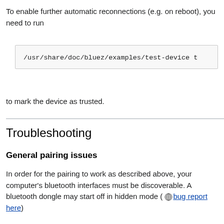To enable further automatic reconnections (e.g. on reboot), you need to run
/usr/share/doc/bluez/examples/test-device t
to mark the device as trusted.
Troubleshooting
General pairing issues
In order for the pairing to work as described above, your computer's bluetooth interfaces must be discoverable. A bluetooth dongle may start off in hidden mode ( bug report here)